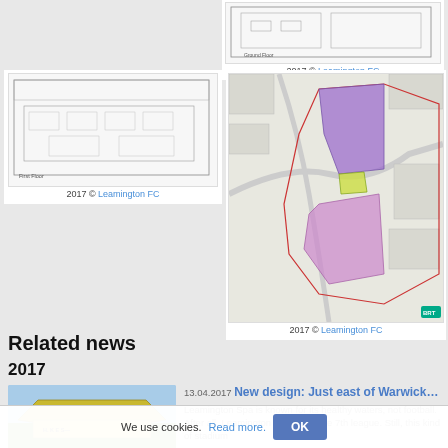[Figure (schematic): Ground floor architectural plan for a building]
2017 © Leamington FC
[Figure (schematic): First Floor architectural plan]
2017 © Leamington FC
[Figure (map): Site map with coloured zones (purple, green, pink) showing development areas]
2017 © Leamington FC
Related news
2017
[Figure (photo): Rendering of a stadium with yellow/green colour scheme and large roof]
13.04.2017 New design: Just east of Warwick…
Leamington Spa is known for its healthy waters, not football. After all, Leamington FC play in the 7th league. Still, this kind of stadium
We use cookies. Read more.